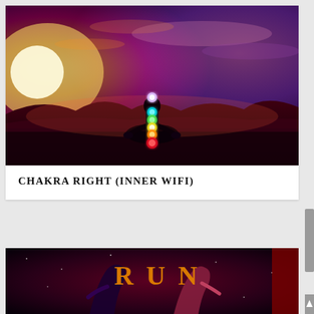[Figure (illustration): A person sitting in meditation lotus pose with chakra energy balls (violet/white at crown, blue at throat, cyan below, green at heart, yellow, orange, red at base) aligned along the body, set against a dramatic sunset sky with orange, pink, and purple hues over a dark landscape.]
CHAKRA RIGHT (INNER WIFI)
[Figure (illustration): Partial view of a second card showing an artistic illustration with text 'RUN' in orange letters, depicting two figures in a stylized cosmic/fantasy setting with deep red and purple tones.]